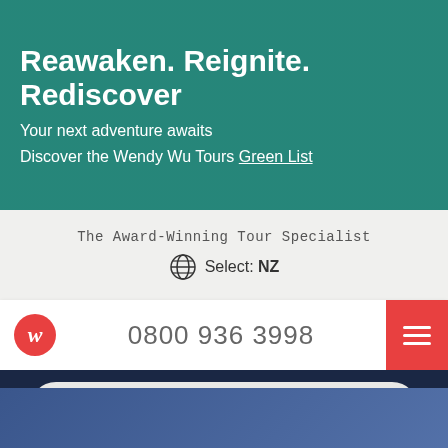Reawaken. Reignite. Rediscover
Your next adventure awaits
Discover the Wendy Wu Tours Green List
The Award-Winning Tour Specialist
Select: NZ
0800 936 3998
Turkmenistan
[Figure (logo): Travel Safe badge with 'WITH OUR PIONEERING' text around top arc and 'TRAVEL SAFE' large text in center, 'CO...OCOLS' around bottom arc, teal circular badge with Wendy Wu logo in center]